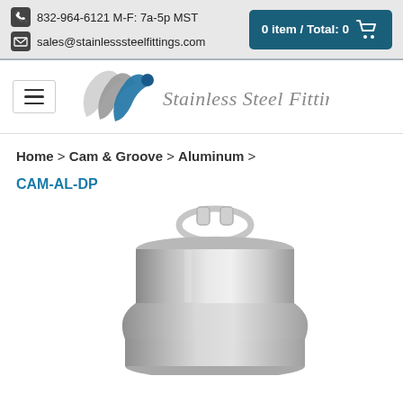832-964-6121 M-F: 7a-5p MST | sales@stainlesssteelfittings.com | 0 item / Total: 0
[Figure (logo): Stainless Steel Fittings logo with stylized swoosh and text]
Home > Cam & Groove > Aluminum >
CAM-AL-DP
[Figure (photo): Aluminum Cam & Groove dust plug fitting, silver metallic, viewed from above/side, showing loop handle]